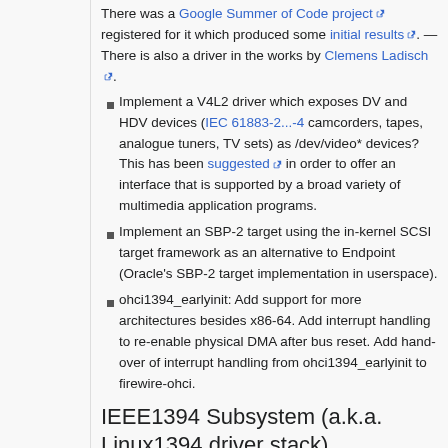There was a Google Summer of Code project registered for it which produced some initial results. — There is also a driver in the works by Clemens Ladisch.
Implement a V4L2 driver which exposes DV and HDV devices (IEC 61883-2...-4 camcorders, tapes, analogue tuners, TV sets) as /dev/video* devices? This has been suggested in order to offer an interface that is supported by a broad variety of multimedia application programs.
Implement an SBP-2 target using the in-kernel SCSI target framework as an alternative to Endpoint (Oracle's SBP-2 target implementation in userspace).
ohci1394_earlyinit: Add support for more architectures besides x86-64. Add interrupt handling to re-enable physical DMA after bus reset. Add hand-over of interrupt handling from ohci1394_earlyinit to firewire-ohci.
IEEE1394 Subsystem (a.k.a. Linux1394 driver stack)